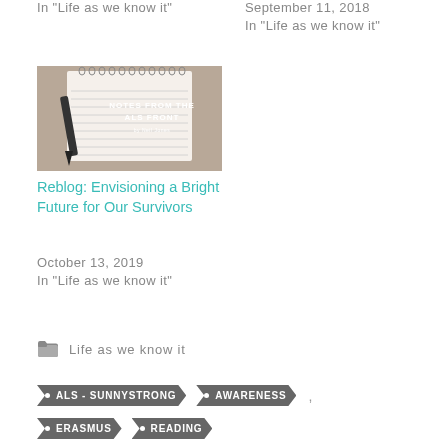In "Life as we know it"
September 11, 2018
In "Life as we know it"
[Figure (photo): A notebook with spiral binding and a pen on top, with text 'NOTES FROM THE ALS FRONT' overlaid on a beige/tan background]
Reblog: Envisioning a Bright Future for Our Survivors
October 13, 2019
In "Life as we know it"
Life as we know it
ALS - SUNNYSTRONG
AWARENESS
ERASMUS
READING